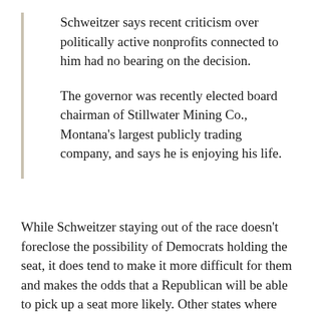Schweitzer says recent criticism over politically active nonprofits connected to him had no bearing on the decision.
The governor was recently elected board chairman of Stillwater Mining Co., Montana's largest publicly trading company, and says he is enjoying his life.
While Schweitzer staying out of the race doesn't foreclose the possibility of Democrats holding the seat, it does tend to make it more difficult for them and makes the odds that a Republican will be able to pick up a seat more likely. Other states where many observers believe the GOP has a good shot at flipping a state are South Dakota, where there is an open seat due to the impending retirement of Tim Johnson, Arkansas, where Mark Pryor is running for re-election, and Louisiana where Mary